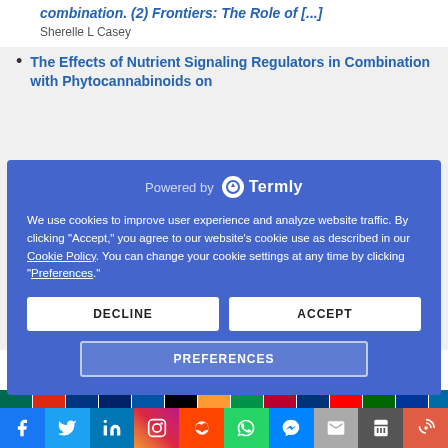Sherelle L Casey
The Effects of Nutrient Signaling Regulators in Combination with Phytocannabinoids on
We use cookies to improve user experience and analyze website traffic. By clicking "Accept," you agree to our website's cookie use as described in our Cookie Policy. You can change your cookie settings at any time by clicking "Preferences."
DECLINE
ACCEPT
PREFERENCES
their potential protective role in skin agi...